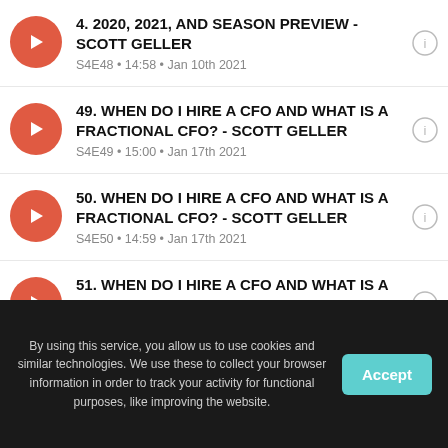4. 2020, 2021, AND SEASON PREVIEW - SCOTT GELLER
S4E48 • 14:58 • Jan 10th 2021
49. WHEN DO I HIRE A CFO AND WHAT IS A FRACTIONAL CFO? - SCOTT GELLER
S4E49 • 15:00 • Jan 17th 2021
50. WHEN DO I HIRE A CFO AND WHAT IS A FRACTIONAL CFO? - SCOTT GELLER
S4E50 • 14:59 • Jan 17th 2021
51. WHEN DO I HIRE A CFO AND WHAT IS A FRACTIONAL CFO? - SCOTT GELLER
S4E51 • 14:56 • Jan 17th 2021
By using this service, you allow us to use cookies and similar technologies. We use these to collect your browser information in order to track your activity for functional purposes, like improving the website.